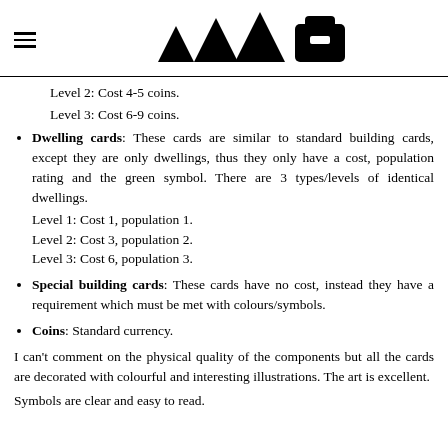[Figure (logo): Hamburger menu icon on the left and four black triangle/mountain shapes plus a building icon forming a logo on the right]
Level 2: Cost 4-5 coins.
Level 3: Cost 6-9 coins.
Dwelling cards: These cards are similar to standard building cards, except they are only dwellings, thus they only have a cost, population rating and the green symbol. There are 3 types/levels of identical dwellings. Level 1: Cost 1, population 1. Level 2: Cost 3, population 2. Level 3: Cost 6, population 3.
Special building cards: These cards have no cost, instead they have a requirement which must be met with colours/symbols.
Coins: Standard currency.
I can't comment on the physical quality of the components but all the cards are decorated with colourful and interesting illustrations. The art is excellent.
Symbols are clear and easy to read.